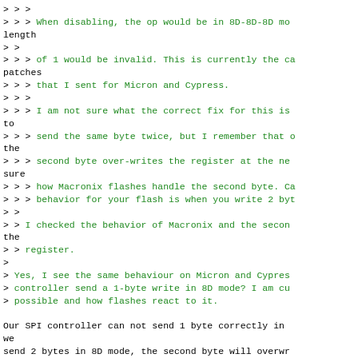> > >
> > > When disabling, the op would be in 8D-8D-8D mo...
length
> >
> > > of 1 would be invalid. This is currently the ca...
patches
> > > that I sent for Micron and Cypress.
> > >
> > > I am not sure what the correct fix for this is...
to
> > > send the same byte twice, but I remember that o...
the
> > > second byte over-writes the register at the ne...
sure
> > > how Macronix flashes handle the second byte. Ca...
> > > behavior for your flash is when you write 2 byt...
> >
> > I checked the behavior of Macronix and the secon...
the
> > register.
>
> Yes, I see the same behaviour on Micron and Cypres...
> controller send a 1-byte write in 8D mode? I am cu...
> possible and how flashes react to it.

Our SPI controller can not send 1 byte correctly in ...
we
send 2 bytes in 8D mode, the second byte will overwr...

> My theory is that even if you ask the controller to...
> mode, it won't deassert the CS till the end of the...
> result the flash in taking the default value of th...